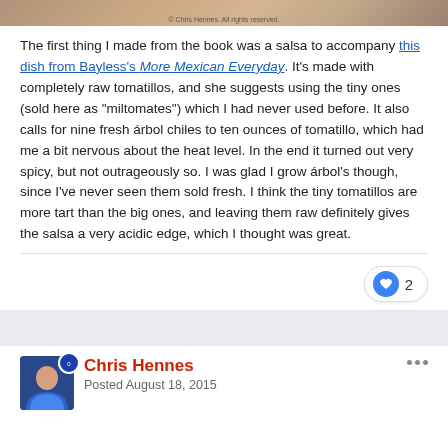[Figure (photo): Partial photo of a person or food item at the top of the page, with copyright caption '© Chris Hennes. All rights reserved.']
The first thing I made from the book was a salsa to accompany this dish from Bayless's More Mexican Everyday. It's made with completely raw tomatillos, and she suggests using the tiny ones (sold here as "miltomates") which I had never used before. It also calls for nine fresh árbol chiles to ten ounces of tomatillo, which had me a bit nervous about the heat level. In the end it turned out very spicy, but not outrageously so. I was glad I grow árbol's though, since I've never seen them sold fresh. I think the tiny tomatillos are more tart than the big ones, and leaving them raw definitely gives the salsa a very acidic edge, which I thought was great.
2
Chris Hennes
Posted August 18, 2015